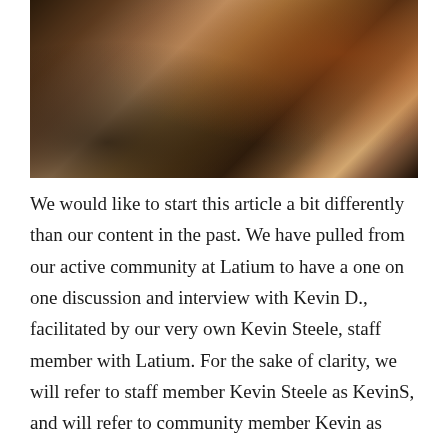[Figure (photo): Photo of people sitting at a wooden table with books, a laptop, glasses, and a drink, seen from above at an angle. A person in a red outfit is visible on the right side.]
We would like to start this article a bit differently than our content in the past. We have pulled from our active community at Latium to have a one on one discussion and interview with Kevin D., facilitated by our very own Kevin Steele, staff member with Latium. For the sake of clarity, we will refer to staff member Kevin Steele as KevinS, and will refer to community member Kevin as KevinD.